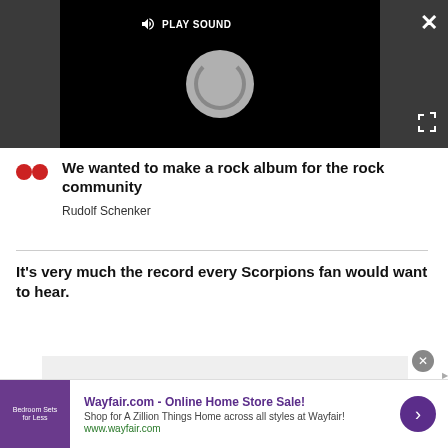[Figure (screenshot): Video player with dark background showing a loading spinner and a 'PLAY SOUND' button overlay. Close (X) button top right, expand button bottom right.]
We wanted to make a rock album for the rock community
Rudolf Schenker
It's very much the record every Scorpions fan would want to hear.
Advertisement
Wayfair.com - Online Home Store Sale!
Shop for A Zillion Things Home across all styles at Wayfair!
www.wayfair.com